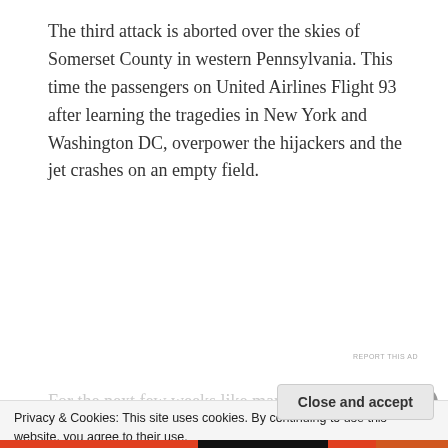The third attack is aborted over the skies of Somerset County in western Pennsylvania. This time the passengers on United Airlines Flight 93 after learning the tragedies in New York and Washington DC, overpower the hijackers and the jet crashes on an empty field.
[Figure (other): Jetpack advertisement banner with green background, Jetpack logo with lightning bolt icon, and 'Back up your site' button]
For the next few weeks like many other Americans I
Privacy & Cookies: This site uses cookies. By continuing to use this website, you agree to their use.
To find out more, including how to control cookies, see here: Cookie Policy